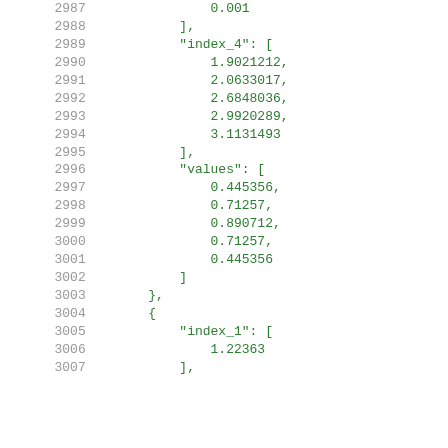Code listing showing JSON data with line numbers 2987-3007, featuring index_4 and values arrays with numeric data.